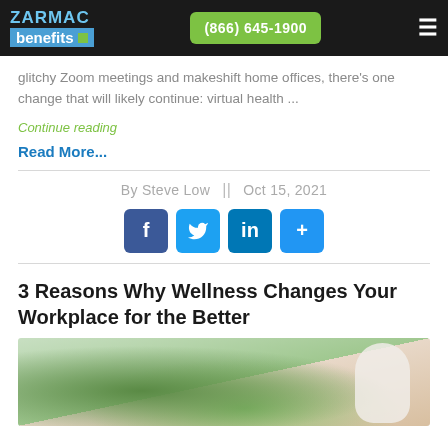ZARMAC benefits | (866) 645-1900
glitchy Zoom meetings and makeshift home offices, there's one change that will likely continue: virtual health ...
Continue reading
Read More...
By Steve Low  ||  Oct 15, 2021
[Figure (infographic): Social media share buttons: Facebook (f), Twitter bird icon, LinkedIn (in), and a plus (+) button, all in blue/dark blue rounded squares]
3 Reasons Why Wellness Changes Your Workplace for the Better
[Figure (photo): Photo of a person in a white top with green tropical plant leaves in the background, suggesting health and wellness theme]